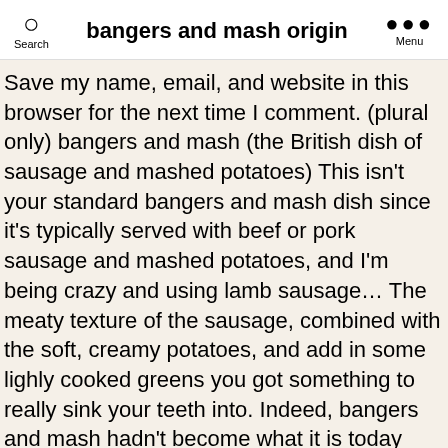Search   bangers and mash origin   Menu
Save my name, email, and website in this browser for the next time I comment. (plural only) bangers and mash (the British dish of sausage and mashed potatoes) This isn't your standard bangers and mash dish since it's typically served with beef or pork sausage and mashed potatoes, and I'm being crazy and using lamb sausage… The meaty texture of the sausage, combined with the soft, creamy potatoes, and add in some lighly cooked greens you got something to really sink your teeth into. Indeed, bangers and mash hadn't become what it is today until around WWI. This recipe originated … According to Wikipedia it's of Irish origin and is traditionally made with sausage and mashed potatoes, sometimes served with fried onions or onion gravy. Bangers and Mash is actually a British dish in origin, but when you make the gravy with beer and switch out that basic, boring mash for colcannon, you've got yourself some delicious Irish pub fair. A super awesome song. The term bangers